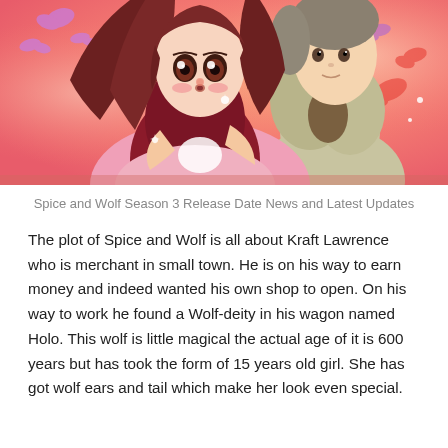[Figure (illustration): Anime-style illustration of two characters in traditional/floral clothing against a pink and coral background with butterflies and sparkles. A girl with long brown hair in a dark red outfit faces a male character in a patterned green/beige outfit.]
Spice and Wolf Season 3 Release Date News and Latest Updates
The plot of Spice and Wolf is all about Kraft Lawrence who is merchant in small town. He is on his way to earn money and indeed wanted his own shop to open. On his way to work he found a Wolf-deity in his wagon named Holo. This wolf is little magical the actual age of it is 600 years but has took the form of 15 years old girl. She has got wolf ears and tail which make her look even special.